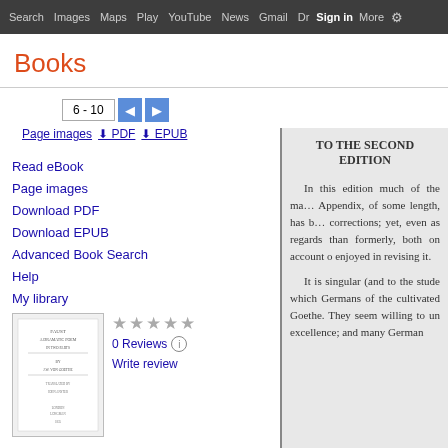Search  Images  Maps  Play  YouTube  News  Gmail  Drive  More  Sign in
Books
6 - 10  ◀  ▶
Page images  ⬇ PDF  ⬇ EPUB
Read eBook
Page images
Download PDF
Download EPUB
Advanced Book Search
Help
My library
[Figure (illustration): Book cover thumbnail for Faust: A Dramatic Poem, Volume 1 by Johann Wolfgang von Goethe]
★★★★★
0 Reviews
Write review
Faust: A Dramatic Poem, Volume 1
By Johann Wolfgang von Goethe
TO THE SECOND EDITION
In this edition much of the ma… Appendix, of some length, has b… corrections; yet, even as regards than formerly, both on account o enjoyed in revising it.
It is singular (and to the stude which Germans of the cultivated Goethe. They seem willing to un excellence; and many German